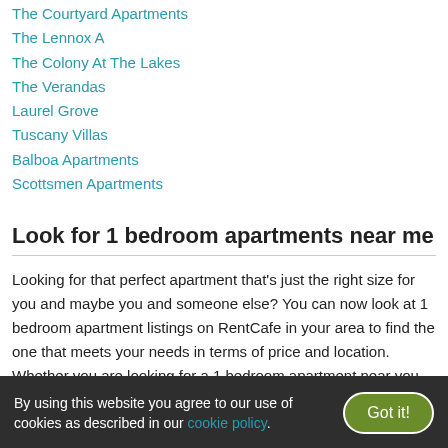The Courtyard Apartments
The Lennox A
The Colony At The Lakes
The Verandas
Laurel Grove
Tuscany Villas
Balboa Apartments
Scottsmen Apartments
Look for 1 bedroom apartments near me
Looking for that perfect apartment that's just the right size for you and maybe you and someone else? You can now look at 1 bedroom apartment listings on RentCafe in your area to find the one that meets your needs in terms of price and location. Whether you are looking for a 1 bedroom apartment near you, or anywhere in the U.S., we can help you find a home you'll love. Filter apartments by type, size, price, and
By using this website you agree to our use of cookies as described in our cookie policy.